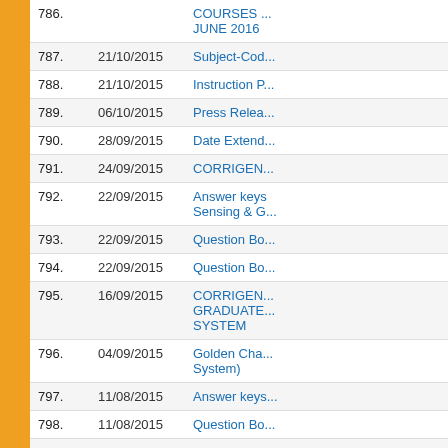| No. | Date | Title |
| --- | --- | --- |
| 786. |  | COURSES ... JUNE 2016 |
| 787. | 21/10/2015 | Subject-Cod... |
| 788. | 21/10/2015 | Instruction P... |
| 789. | 06/10/2015 | Press Relea... |
| 790. | 28/09/2015 | Date Extend... |
| 791. | 24/09/2015 | CORRIGEN... |
| 792. | 22/09/2015 | Answer keys Sensing & G... |
| 793. | 22/09/2015 | Question Bo... |
| 794. | 22/09/2015 | Question Bo... |
| 795. | 16/09/2015 | CORRIGEN... GRADUATE... SYSTEM |
| 796. | 04/09/2015 | Golden Cha... System) |
| 797. | 11/08/2015 | Answer keys... |
| 798. | 11/08/2015 | Question Bo... |
| 799. | 05/08/2015 | Answer keys... |